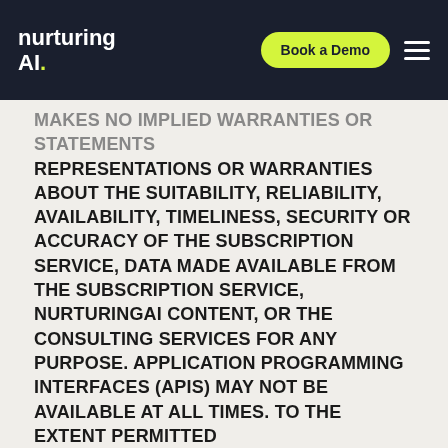nurturing AI. | Book a Demo
REPRESENTATIONS OR WARRANTIES ABOUT THE SUITABILITY, RELIABILITY, AVAILABILITY, TIMELINESS, SECURITY OR ACCURACY OF THE SUBSCRIPTION SERVICE, DATA MADE AVAILABLE FROM THE SUBSCRIPTION SERVICE, NURTURINGAI CONTENT, OR THE CONSULTING SERVICES FOR ANY PURPOSE. APPLICATION PROGRAMMING INTERFACES (APIs) MAY NOT BE AVAILABLE AT ALL TIMES. TO THE EXTENT PERMITTED